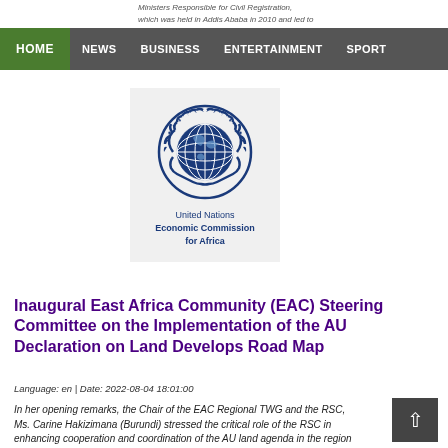Ministers Responsible for Civil Registration, which was held in Addis Ababa in 2010 and led to establishment of the Programme
HOME | NEWS | BUSINESS | ENTERTAINMENT | SPORT
[Figure (logo): United Nations Economic Commission for Africa logo with globe emblem and laurel wreath]
Inaugural East Africa Community (EAC) Steering Committee on the Implementation of the AU Declaration on Land Develops Road Map
Language: en | Date: 2022-08-04 18:01:00
In her opening remarks, the Chair of the EAC Regional TWG and the RSC, Ms. Carine Hakizimana (Burundi) stressed the critical role of the RSC in enhancing cooperation and coordination of the AU land agenda in the region